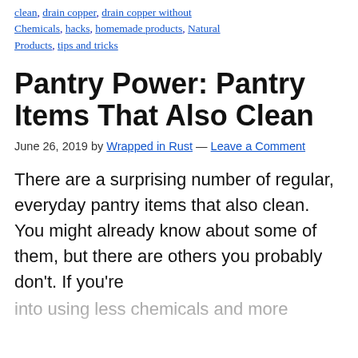Tagged with: clean, drain copper, drain copper without chemicals, hacks, homemade products, Natural Products, tips and tricks
Pantry Power: Pantry Items That Also Clean
June 26, 2019 by Wrapped in Rust — Leave a Comment
There are a surprising number of regular, everyday pantry items that also clean. You might already know about some of them, but there are others you probably don't. If you're into using less chemicals and more